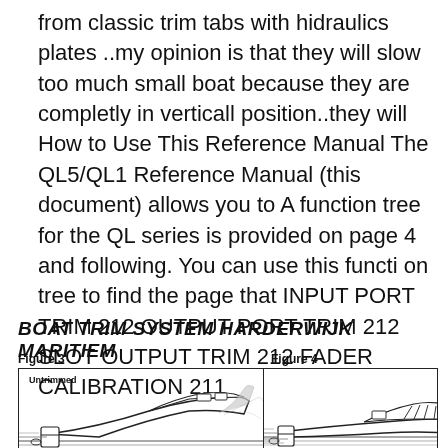from classic trim tabs with hidraulics plates ..my opinion is that they will slow too much small boat because they are completly in verticall position..they will How to Use This Reference Manual The QL5/QL1 Reference Manual (this document) allows you to A function tree for the QL series is provided on page 4 and following. You can use this functi on tree to find the page that INPUT PORT TRIM 212 OUTPUT PORT TRIM 212 SLOT OUTPUT TRIM 212 FADER CALIBRATION 211
BOAT TRIM SYSTEM HARDERWIJK MARITIEM
[Figure (illustration): Figure 3: Untrimmed boat illustration showing a motorboat at speed with spray at the bow, engine at rear, boat tilted upward at bow]
[Figure (illustration): Figure 4: Trimmed boat illustration showing a motorboat level at speed with outboard motor, boat running flat on water with horizontal lines suggesting wake]